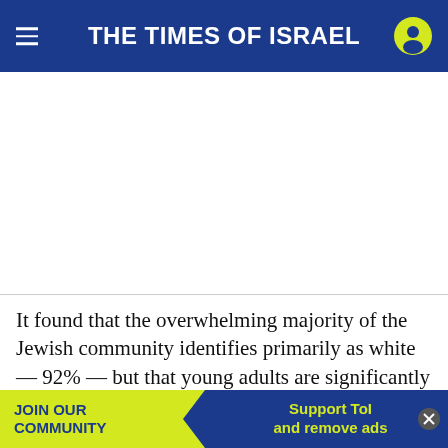THE TIMES OF ISRAEL
[Figure (other): Advertisement placeholder area (blank white space)]
It found that the overwhelming majority of the Jewish community identifies primarily as white — 92% — but that young adults are significantly more diverse. Some 85% of adults under 30 identify primarily as white, compared to more Hispanic, 2% as Black, Asian